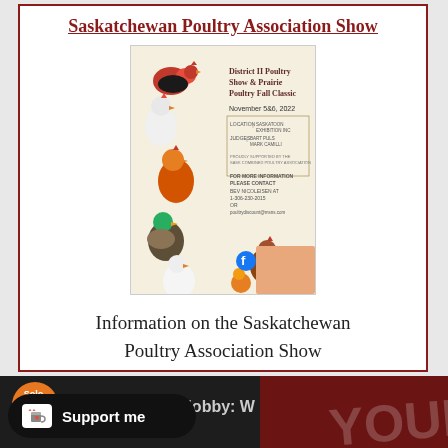Saskatchewan Poultry Association Show
[Figure (illustration): District II Poultry Show & Prairie Poultry Fall Classic event flyer showing illustrated chickens, ducks and poultry birds with event details for November 5&6, 2022]
Information on the Saskatchewan Poultry Association Show
[Figure (infographic): Bottom banner advertisement showing Solo Build It logo, text 'Monetize Your Hobby: W...' and 'YOUR' text on dark background, with a 'Support me' button]